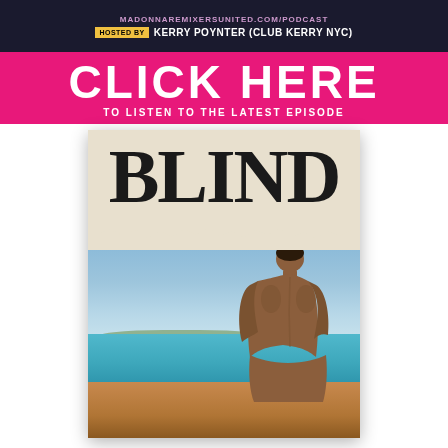MADONNAREMIXERSUNITED.COM/PODCAST HOSTED BY KERRY POYNTER (CLUB KERRY NYC)
CLICK HERE TO LISTEN TO THE LATEST EPISODE
[Figure (photo): Book cover for 'BLIND' showing a shirtless man's back against a beach/ocean backdrop. The top portion has a cream/beige background with the word BLIND in large bold serif font, and a torn paper effect transitions to a photograph of a shirtless man sitting on a beach viewed from behind, with blue ocean and sky in the background.]